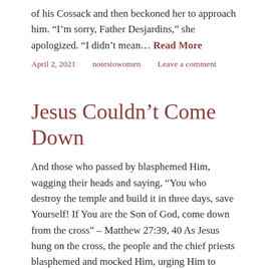of his Cossack and then beckoned her to approach him. “I’m sorry, Father Desjardins,” she apologized. “I didn’t mean… Read More
April 2, 2021    notestowomen    Leave a comment
Jesus Couldn’t Come Down
And those who passed by blasphemed Him, wagging their heads and saying, “You who destroy the temple and build it in three days, save Yourself! If You are the Son of God, come down from the cross” – Matthew 27:39, 40 As Jesus hung on the cross, the people and the chief priests blasphemed and mocked Him, urging Him to save… Read More
April 11, 2020    notestowomen    Leave a comment